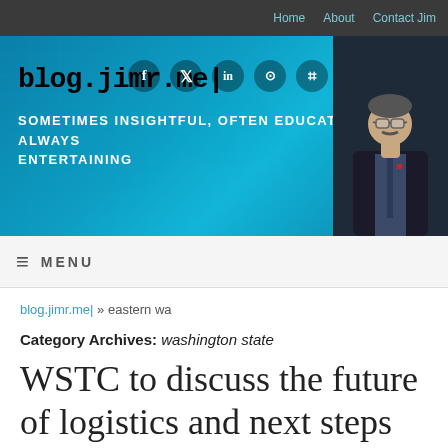Home   About   Contact Jim
[Figure (illustration): Blog header banner with teal world-map background, blog.jimr.me| title, social media icons, and a photo of a man in a suit]
≡ MENU
blog.jimr.me| » eastern wa
Category Archives: washington state
WSTC to discuss the future of logistics and next steps for autonomous vehicles